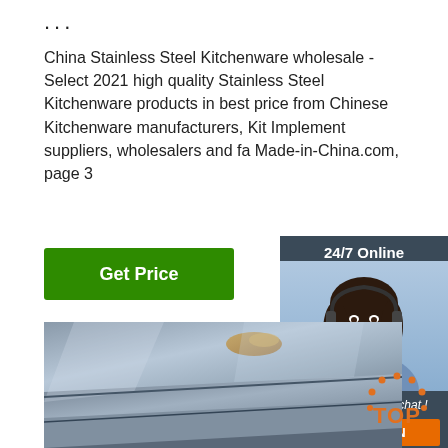...
China Stainless Steel Kitchenware wholesale - Select 2021 high quality Stainless Steel Kitchenware products in best price from Chinese Kitchenware manufacturers, Kit Implement suppliers, wholesalers and fa Made-in-China.com, page 3
[Figure (other): Chat widget with 24/7 Online header, woman with headset, Click here for free chat! text, and QUOTATION button]
[Figure (photo): Close-up photo of stainless steel plates/sheets stacked, showing metallic surface with some rust/discoloration]
[Figure (logo): TOP badge logo in bottom right corner]
Get Price